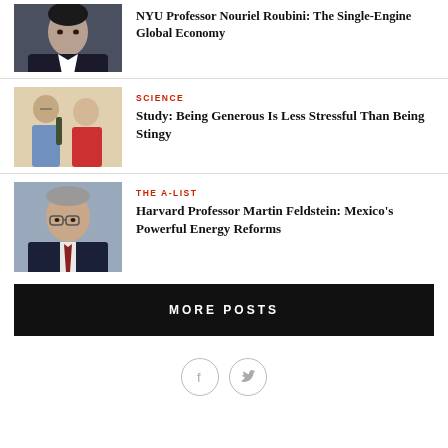[Figure (photo): Headshot of NYU Professor Nouriel Roubini, man in dark jacket]
NYU Professor Nouriel Roubini: The Single-Engine Global Economy
[Figure (photo): Two elderly people, science article illustration]
SCIENCE
Study: Being Generous Is Less Stressful Than Being Stingy
[Figure (photo): Headshot of Harvard Professor Martin Feldstein, older man with glasses in suit]
THE A-LIST
Harvard Professor Martin Feldstein: Mexico's Powerful Energy Reforms
MORE POSTS
[Figure (illustration): Facebook and Twitter social media icons in circles]